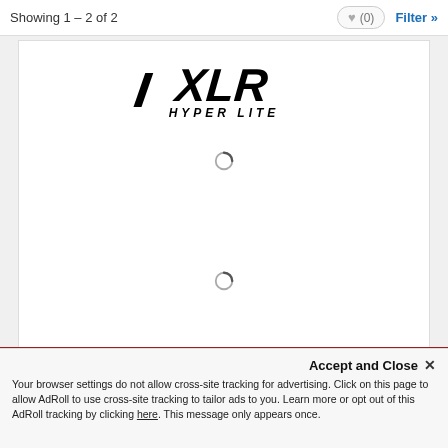Showing 1 – 2 of 2
[Figure (logo): XLR Hyper Lite logo in bold italic black lettering]
Your browser settings do not allow cross-site tracking for advertising. Click on this page to allow AdRoll to use cross-site tracking to tailor ads to you. Learn more or opt out of this AdRoll tracking by clicking here. This message only appears once.